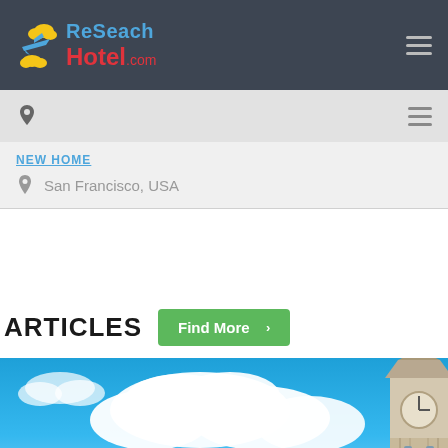ReSeach Hotel.com
San Francisco, USA
NEW HOME
ARTICLES
Find More >
[Figure (photo): Blue sky with white clouds and a Gothic clock tower (Big Ben style) partially visible on the right side]